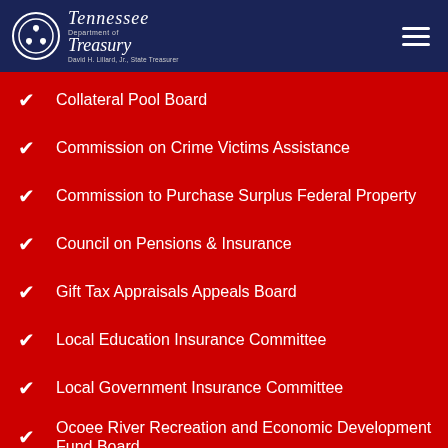Tennessee Department of Treasury — David H. Lillard, Jr., State Treasurer
Collateral Pool Board
Commission on Crime Victims Assistance
Commission to Purchase Surplus Federal Property
Council on Pensions & Insurance
Gift Tax Appraisals Appeals Board
Local Education Insurance Committee
Local Government Insurance Committee
Ocoee River Recreation and Economic Development Fund Board
Pension Stabilization Reserve Trust Fund Board
Public Records Commission